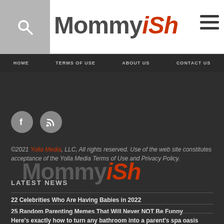Mommyish — Home | Terms Of Use | About Us | Contact Us
[Figure (logo): Mommyish logo — Mommy in dark gray, ish in red italic]
[Figure (illustration): Social icons: Facebook and RSS feed circles]
©2021 Yolla Media, LLC, All rights reserved. Use of the web site constitutes acceptance of the Yolla Media Terms of Use and Privacy Policy.
LATEST NEWS
22 Celebrities Who Are Having Babies in 2022
25 Random Parenting Memes That Will Never NOT Be Funny
Here's exactly how to turn any bathroom into a parent's spa oasis
19 Mom-Themed Cocktails To Make For Your Next Playdate